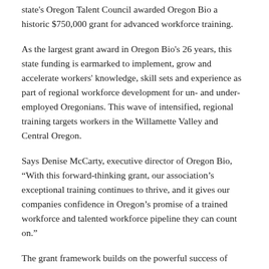state's Oregon Talent Council awarded Oregon Bio a historic $750,000 grant for advanced workforce training.
As the largest grant award in Oregon Bio's 26 years, this state funding is earmarked to implement, grow and accelerate workers' knowledge, skill sets and experience as part of regional workforce development for un- and under-employed Oregonians. This wave of intensified, regional training targets workers in the Willamette Valley and Central Oregon.
Says Denise McCarty, executive director of Oregon Bio, “With this forward-thinking grant, our association’s exceptional training continues to thrive, and it gives our companies confidence in Oregon’s promise of a trained workforce and talented workforce pipeline they can count on.”
The grant framework builds on the powerful success of Oregon Bio’s workplace training curriculum BioPro and its parallel training program, BioCatalyst. BioPro’s training curriculum raises the knowledge and efficiency of the state’s bioscience workforce to improve Oregon’s industry competitiveness. BioCatalyst Advanced Training enhances the skills of un- and under-employed management professionals, engineers and project managers in the state seeking